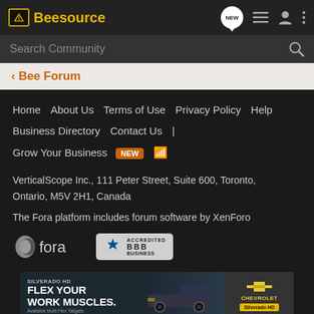Beesource
Search Community
< Bee Forum
Home  About Us  Terms of Use  Privacy Policy  Help  Business Directory  Contact Us  |  Grow Your Business  NEW
VerticalScope Inc., 111 Peter Street, Suite 600, Toronto, Ontario, M5V 2H1, Canada
The Fora platform includes forum software by XenForo
[Figure (logo): Fora logo and BBB Accredited Business badge]
[Figure (photo): Silverado HD advertisement: FLEX YOUR WORK MUSCLES. Available Multi-Flex Tailgate. Chevrolet Silverado HD]